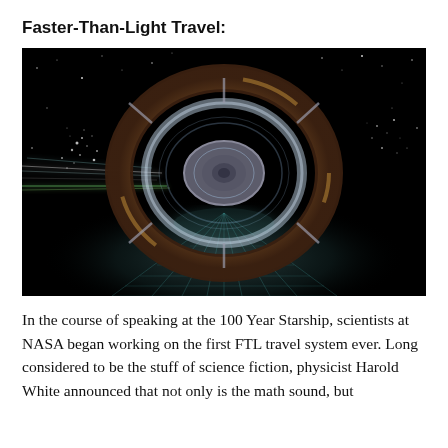Faster-Than-Light Travel:
[Figure (illustration): Artist's rendering of a warp drive spacecraft — a disc-shaped vessel surrounded by two large concentric rings, set against a black starfield. The ship appears to be traveling at high speed with light streaks visible, and a glowing warp field or spacetime distortion visible beneath it on a grid-like surface.]
In the course of speaking at the 100 Year Starship, scientists at NASA began working on the first FTL travel system ever. Long considered to be the stuff of science fiction, physicist Harold White announced that not only is the math sound, but